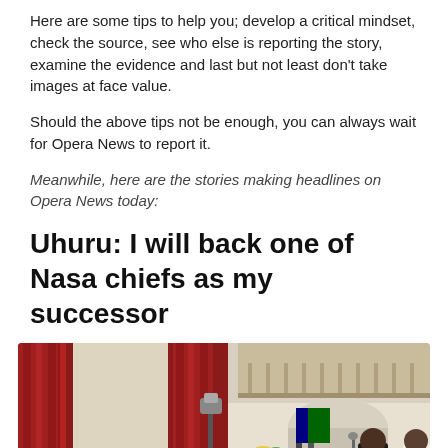Here are some tips to help you; develop a critical mindset, check the source, see who else is reporting the story, examine the evidence and last but not least don't take images at face value.
Should the above tips not be enough, you can always wait for Opera News to report it.
Meanwhile, here are the stories making headlines on Opera News today:
Uhuru: I will back one of Nasa chiefs as my successor
[Figure (photo): A formal indoor ceremony or meeting in an ornate room with red curtains and drapes. A speaker stands at a podium/table to the right with flags behind them, while seated attendees wearing masks listen. A uniformed aide stands at far right.]